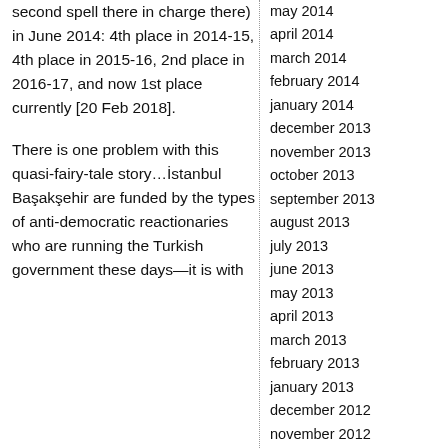second spell there in charge there) in June 2014: 4th place in 2014-15, 4th place in 2015-16, 2nd place in 2016-17, and now 1st place currently [20 Feb 2018].
There is one problem with this quasi-fairy-tale story…İstanbul Başakşehir are funded by the types of anti-democratic reactionaries who are running the Turkish government these days—it is with...
may 2014
april 2014
march 2014
february 2014
january 2014
december 2013
november 2013
october 2013
september 2013
august 2013
july 2013
june 2013
may 2013
april 2013
march 2013
february 2013
january 2013
december 2012
november 2012
october 2012
september 2012
august 2012
july 2012
june 2012
may 2012
april 2012
march 2012
february 2012
january 2012
december 2011
november 2011
october 2011
september 2011